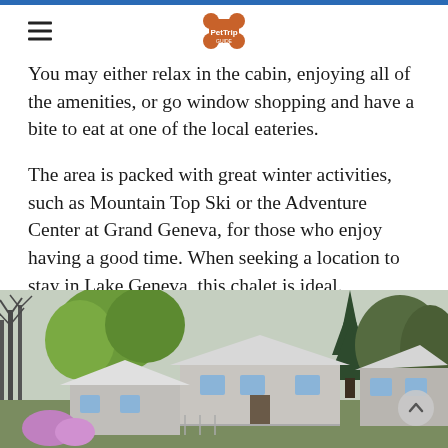You may either relax in the cabin, enjoying all of the amenities, or go window shopping and have a bite to eat at one of the local eateries.
The area is packed with great winter activities, such as Mountain Top Ski or the Adventure Center at Grand Geneva, for those who enjoy having a good time. When seeking a location to stay in Lake Geneva, this chalet is ideal.
Book your tickets here- Cabins in Wisconsin
[Figure (photo): Exterior view of white cabins/chalets surrounded by bare and green trees, likely in spring or late winter, in Lake Geneva area Wisconsin.]